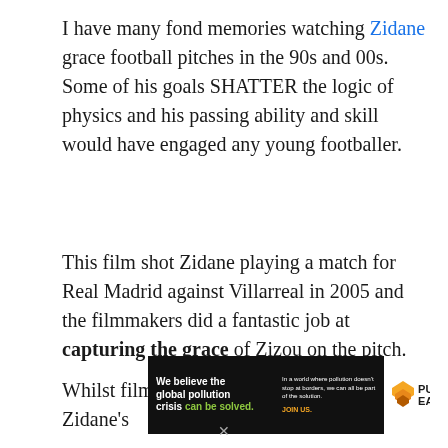I have many fond memories watching Zidane grace football pitches in the 90s and 00s. Some of his goals SHATTER the logic of physics and his passing ability and skill would have engaged any young footballer.
This film shot Zidane playing a match for Real Madrid against Villarreal in 2005 and the filmmakers did a fantastic job at capturing the grace of Zizou on the pitch.
Whilst filming, subtitles are used to translate Zidane's
[Figure (other): Advertisement banner for Pure Earth organization with black background. Left text reads: 'We believe the global pollution crisis can be solved.' (with 'can be solved.' in green). Middle text reads: 'In a world where pollution doesn't stop at borders, we can all be part of the solution. JOIN US.' (JOIN US in orange). Right side shows Pure Earth logo and name on white background.]